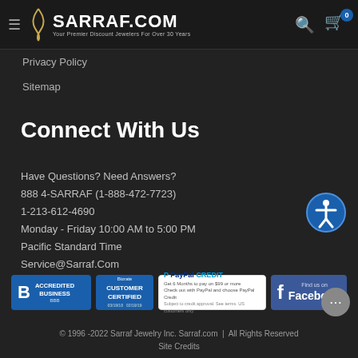SARRAF.COM — Your Premier Discount Jewelers For Over 30 Years
Privacy Policy
Sitemap
Connect With Us
Have Questions? Need Answers?
888 4-SARRAF (1-888-472-7723)
1-213-612-4690
Monday - Friday 10:00 AM to 5:00 PM
Pacific Standard Time
Service@Sarraf.Com
[Figure (logo): BBB Accredited Business badge]
[Figure (logo): Bizrate Customer Certified badge]
[Figure (logo): PayPal Credit badge — Get 6 Months to pay on $99 or more]
[Figure (logo): Find us on Facebook badge]
© 1996 -2022 Sarraf Jewelry Inc. Sarraf.com  |  All Rights Reserved
Site Credits